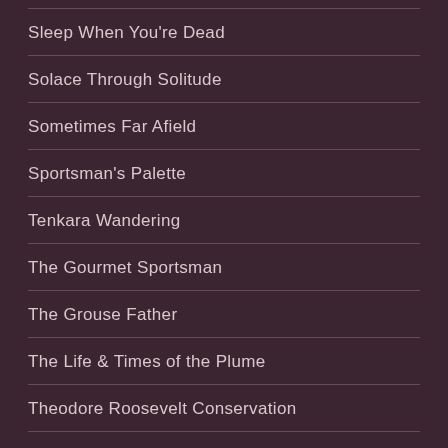Sleep When You're Dead
Solace Through Solitude
Sometimes Far Afield
Sportsman's Palette
Tenkara Wandering
The Gourmet Sportsman
The Grouse Father
The Life & Times of the Plume
Theodore Roosevelt Conservation
Tuckers Chukars
Turn me loose, set me free